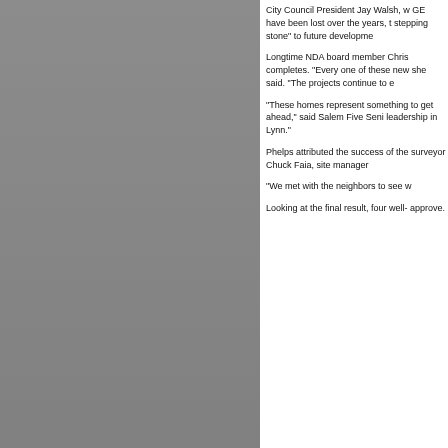City Council President Jay Walsh, w GE have been lost over the years, t stepping stone" to future developme
Longtime NDA board member Chris completes. "Every one of these new she said. "The projects continue to e
"These homes represent something to get ahead," said Salem Five Seni leadership in Lynn."
Phelps attributed the success of the surveyor Chuck Faia, site manager
"We met with the neighbors to see w
Looking at the final result, four well- approve.
[Figure (photo): Gray background image on left side of page]
FOLLOW US
Back to News
Economic Development & Industrial Corporation
Lynn City Hall ~ Room 405. 3 City Hall Square, Lynn MA 01901
Phone: 781.581.9399 . Fax: 781.581.9731 . Email: info@ediclynn.org